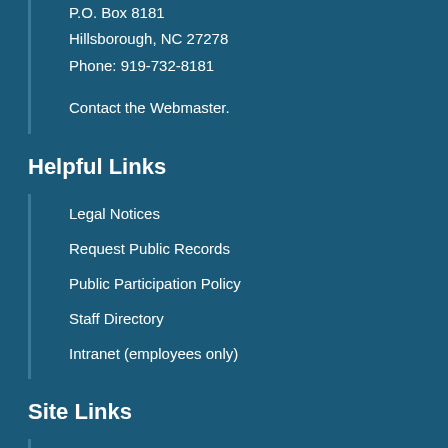P.O. Box 8181
Hillsborough, NC 27278
Phone: 919-732-8181
Contact the Webmaster.
Helpful Links
Legal Notices
Request Public Records
Public Participation Policy
Staff Directory
Intranet (employees only)
Site Links
Home
Site Map